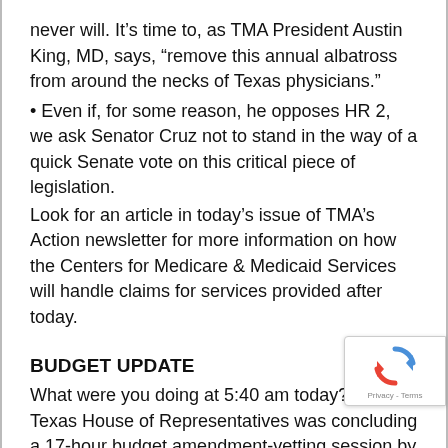never will. It’s time to, as TMA President Austin King, MD, says, “remove this annual albatross from around the necks of Texas physicians.”
• Even if, for some reason, he opposes HR 2, we ask Senator Cruz not to stand in the way of a quick Senate vote on this critical piece of legislation.
Look for an article in today’s issue of TMA’s Action newsletter for more information on how the Centers for Medicare & Medicaid Services will handle claims for services provided after today.
BUDGET UPDATE
What were you doing at 5:40 am today? The Texas House of Representatives was concluding a 17-hour budget amendment-vetting session by passing House Bill 1, 141-5. House members were asked to consider 354 amendments. The House budget is $210 billion, which includes $460 million in general revenue funds to increase Medicaid payments to Medicare levels for